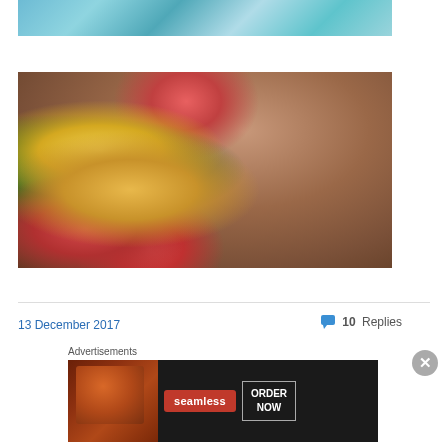[Figure (photo): Partial view of colorful crochet/knit blanket with blue and teal colors]
Last Dance on the Beach – video tutorials, yarn, color list
[Figure (photo): Knit shawl or wrap in purple/brown/olive tones with yellow and pink tulips laid on top]
My Tribe Swatched
13 December 2017
10 Replies
Advertisements
[Figure (photo): Seamless food delivery advertisement banner showing pizza and ORDER NOW call to action]